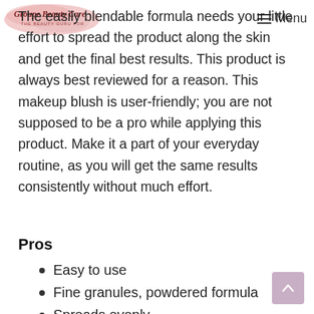Groupe Beauty Care — Menu
The easily blendable formula needs your little effort to spread the product along the skin and get the final best results. This product is always best reviewed for a reason. This makeup blush is user-friendly; you are not supposed to be a pro while applying this product. Make it a part of your everyday routine, as you will get the same results consistently without much effort.
Pros
Easy to use
Fine granules, powdered formula
Spreads evenly